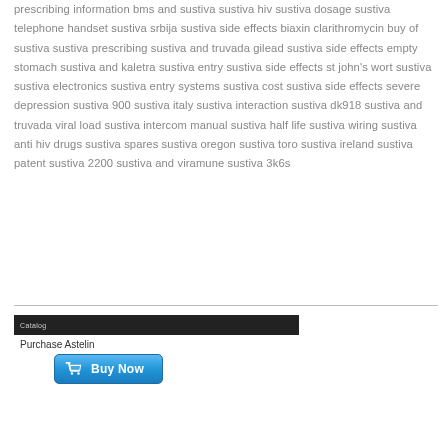prescribing information bms and sustiva sustiva hiv sustiva dosage sustiva telephone handset sustiva srbija sustiva side effects biaxin clarithromycin buy of sustiva sustiva prescribing sustiva and truvada gilead sustiva side effects empty stomach sustiva and kaletra sustiva entry sustiva side effects st john's wort sustiva sustiva electronics sustiva entry systems sustiva cost sustiva side effects severe depression sustiva 900 sustiva italy sustiva interaction sustiva dk918 sustiva and truvada viral load sustiva intercom manual sustiva half life sustiva wiring sustiva anti hiv drugs sustiva spares sustiva oregon sustiva toro sustiva ireland sustiva patent sustiva 2200 sustiva and viramune sustiva 3k6s
[Figure (screenshot): Purchase Astelin widget with a dark header bar, 'Purchase Astelin' label, and a blue 'Buy Now' button with a shopping cart icon]